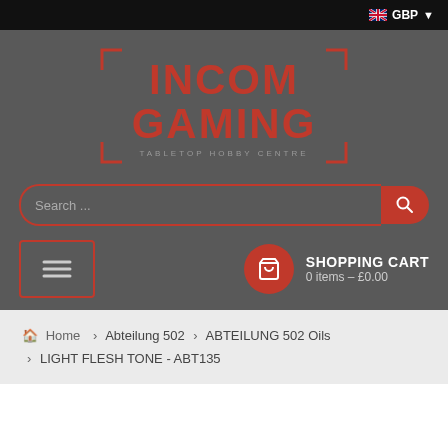GBP
[Figure (logo): INCOM GAMING - TABLETOP HOBBY CENTRE logo with red stylized text on dark background with bracket/frame design elements]
Search ...
SHOPPING CART
0 items - £0.00
Home > Abteilung 502 > ABTEILUNG 502 Oils > LIGHT FLESH TONE - ABT135